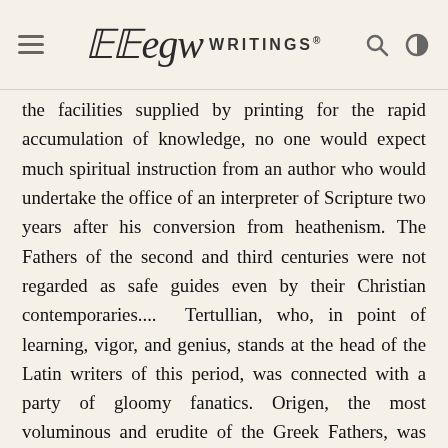EGW WRITINGS®
the facilities supplied by printing for the rapid accumulation of knowledge, no one would expect much spiritual instruction from an author who would undertake the office of an interpreter of Scripture two years after his conversion from heathenism. The Fathers of the second and third centuries were not regarded as safe guides even by their Christian contemporaries.... Tertullian, who, in point of learning, vigor, and genius, stands at the head of the Latin writers of this period, was connected with a party of gloomy fanatics. Origen, the most voluminous and erudite of the Greek Fathers, was excommunicated as a heretic. If we estimate these authors, as they were appreciated by the early Church of Rome, we must pronounce their writings